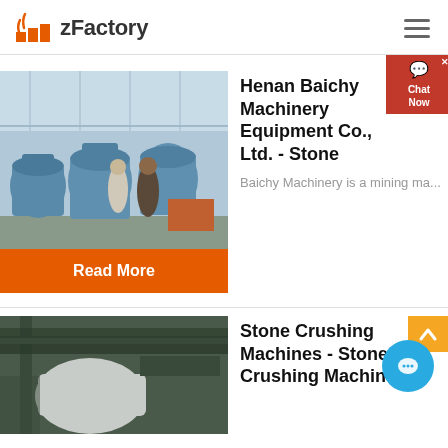zFactory
[Figure (photo): Industrial factory interior with large blue grinding/milling machines and two workers standing among them]
Read More
Henan Baichy Machinery Equipment Co., Ltd. - Stone
Baichy Machinery is a mining ma...
[Figure (photo): Stone crushing machine equipment in an industrial setting]
Stone Crushing Machines - Stone Crushing Machine